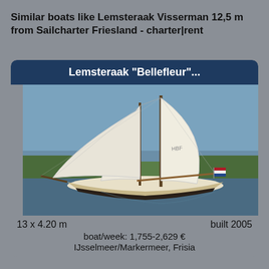Similar boats like Lemsteraak Visserman 12,5 m from Sailcharter Friesland - charter|rent
Lemsteraak "Bellefleur"...
[Figure (photo): Sailing boat Lemsteraak Bellefleur under full sail on a calm waterway with green banks, flying a Dutch flag]
13 x 4.20 m
built 2005
boat/week: 1,755-2,629 €
IJsselmeer/Markermeer, Frisia
[Figure (logo): Chat/messaging icon logo in dark blue]
Sailcharter Friesland